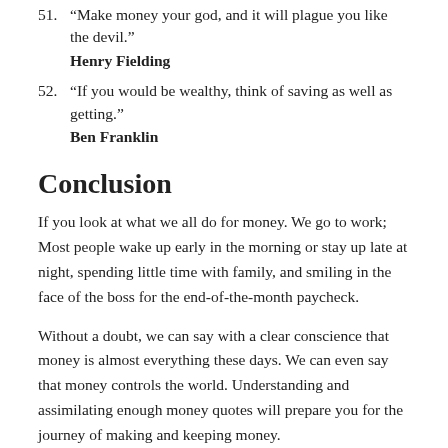51. “Make money your god, and it will plague you like the devil.” Henry Fielding
52. “If you would be wealthy, think of saving as well as getting.” Ben Franklin
Conclusion
If you look at what we all do for money. We go to work; Most people wake up early in the morning or stay up late at night, spending little time with family, and smiling in the face of the boss for the end-of-the-month paycheck.
Without a doubt, we can say with a clear conscience that money is almost everything these days. We can even say that money controls the world. Understanding and assimilating enough money quotes will prepare you for the journey of making and keeping money.
References